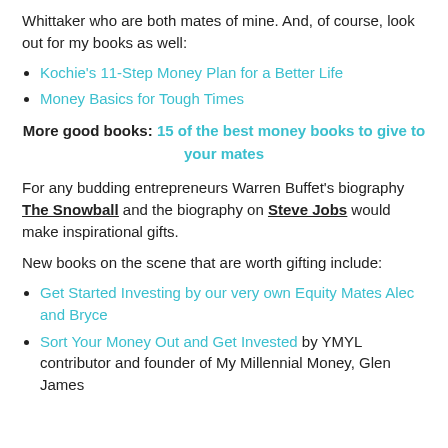Whittaker who are both mates of mine. And, of course, look out for my books as well:
Kochie's 11-Step Money Plan for a Better Life
Money Basics for Tough Times
More good books: 15 of the best money books to give to your mates
For any budding entrepreneurs Warren Buffet's biography The Snowball and the biography on Steve Jobs would make inspirational gifts.
New books on the scene that are worth gifting include:
Get Started Investing by our very own Equity Mates Alec and Bryce
Sort Your Money Out and Get Invested by YMYL contributor and founder of My Millennial Money, Glen James